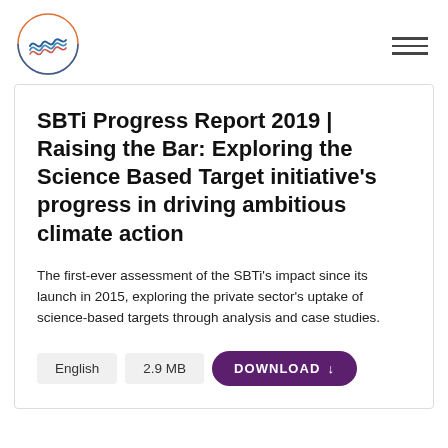[Figure (logo): SBTi circular logo with wave lines in blue, teal, orange, and red inside a circle outline]
SBTi Progress Report 2019 | Raising the Bar: Exploring the Science Based Target initiative's progress in driving ambitious climate action
The first-ever assessment of the SBTi's impact since its launch in 2015, exploring the private sector's uptake of science-based targets through analysis and case studies.
English   2.9 MB   DOWNLOAD ↓